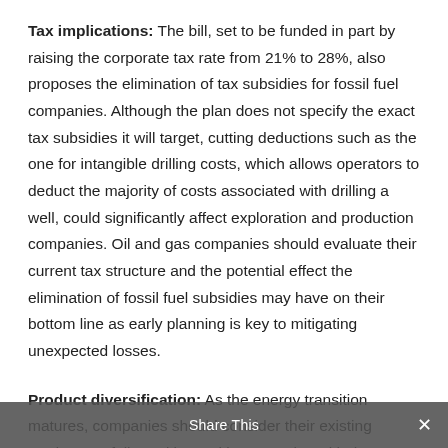Tax implications: The bill, set to be funded in part by raising the corporate tax rate from 21% to 28%, also proposes the elimination of tax subsidies for fossil fuel companies. Although the plan does not specify the exact tax subsidies it will target, cutting deductions such as the one for intangible drilling costs, which allows operators to deduct the majority of costs associated with drilling a well, could significantly affect exploration and production companies. Oil and gas companies should evaluate their current tax structure and the potential effect the elimination of fossil fuel subsidies may have on their bottom line as early planning is key to mitigating unexpected losses.
Product diversification: As the energy transition matures, companies should consider their existing product portfolio and its position to evolve with the regulatory
Share This ×